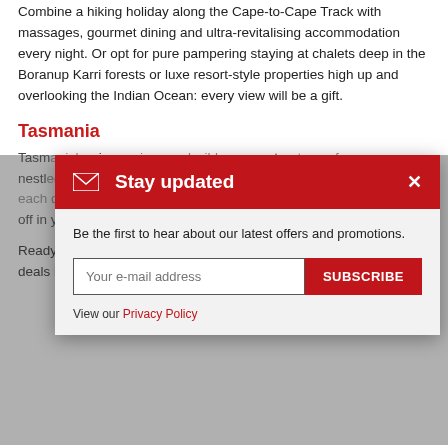Combine a hiking holiday along the Cape-to-Cape Track with massages, gourmet dining and ultra-revitalising accommodation every night. Or opt for pure pampering staying at chalets deep in the Boranup Karri forests or luxe resort-style properties high up and overlooking the Indian Ocean: every view will be a gift.
Tasmania
Tasmania ... wine ... retreats ... nestled ... enjoy ... saunas ... end of day ... sun slip between the peaks before nodding off in your luxurious cottage. That is how wellness should be.
[Figure (infographic): Stay updated modal overlay with email subscription form. Red header with envelope icon and 'Stay updated' title, close button (x). Body with text 'Be the first to hear about our latest offers and promotions.' Email input field and red SUBSCRIBE button. Privacy Policy link at bottom.]
Ready to get your zen on? Reach out Travellers Choice for travel deals in Australia